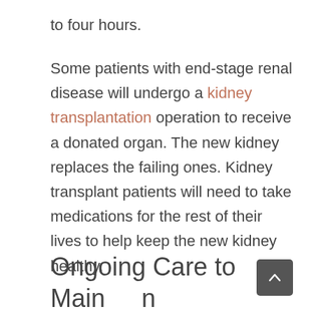to four hours.
Some patients with end-stage renal disease will undergo a kidney transplantation operation to receive a donated organ. The new kidney replaces the failing ones. Kidney transplant patients will need to take medications for the rest of their lives to help keep the new kidney healthy.
Ongoing Care to Maintain the Access